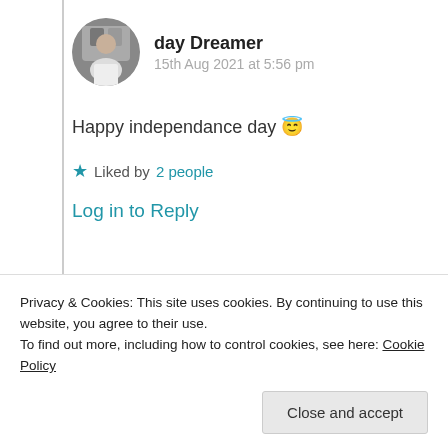[Figure (photo): Circular avatar photo of a person (day Dreamer)]
day Dreamer
15th Aug 2021 at 5:56 pm
Happy independance day 😇
★ Liked by 2 people
Log in to Reply
[Figure (photo): Circular avatar photo of Suma Reddy]
Suma Reddy
Privacy & Cookies: This site uses cookies. By continuing to use this website, you agree to their use. To find out more, including how to control cookies, see here: Cookie Policy
Close and accept
★ Like